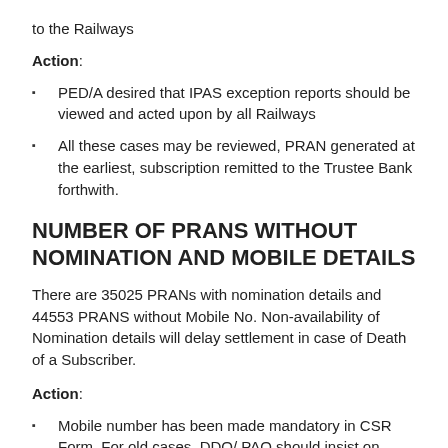to the Railways
Action:
PED/A desired that IPAS exception reports should be viewed and acted upon by all Railways
All these cases may be reviewed, PRAN generated at the earliest, subscription remitted to the Trustee Bank forthwith.
NUMBER OF PRANS WITHOUT NOMINATION AND MOBILE DETAILS
There are 35025 PRANs with nomination details and 44553 PRANS without Mobile No. Non-availability of Nomination details will delay settlement in case of Death of a Subscriber.
Action:
Mobile number has been made mandatory in CSR Form. For old cases, DDO/ PAO should insist on providing the same